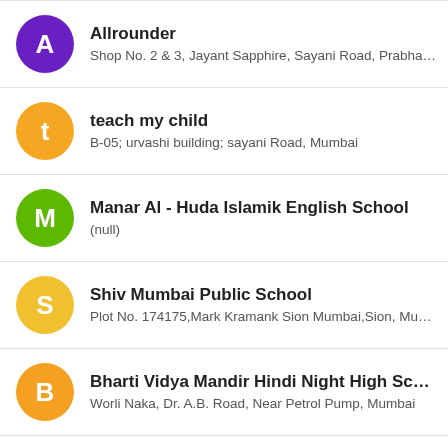Allrounder — Shop No. 2 & 3, Jayant Sapphire, Sayani Road, Prabhade...
teach my child — B-05; urvashi building; sayani Road, Mumbai
Manar Al - Huda Islamik English School — (null)
Shiv Mumbai Public School — Plot No. 174175,Mark Kramank Sion Mumbai,Sion, Mumbai
Bharti Vidya Mandir Hindi Night High School — Worli Naka, Dr. A.B. Road, Near Petrol Pump, Mumbai